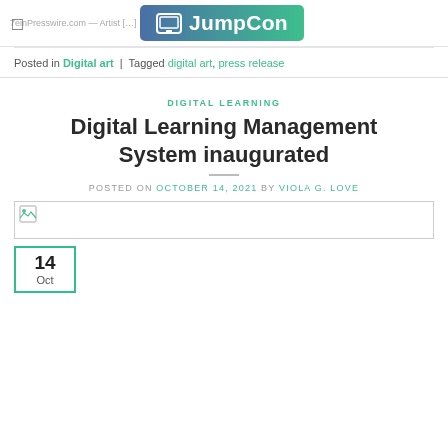JumpCon
Posted in Digital art | Tagged digital art, press release
DIGITAL LEARNING
Digital Learning Management System inaugurated
POSTED ON OCTOBER 14, 2021 BY VIOLA G. LOVE
[Figure (other): Broken image placeholder]
14 Oct